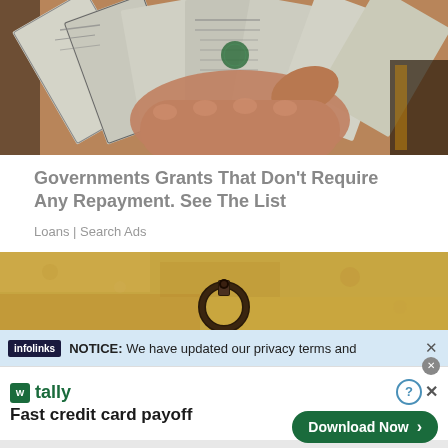[Figure (photo): Hand holding a fan of US dollar bills]
Governments Grants That Don't Require Any Repayment. See The List
Loans | Search Ads
[Figure (photo): Close-up of a metal ring/hook on a sandy stone wall]
NOTICE: We have updated our privacy terms and
tally
Fast credit card payoff
Download Now